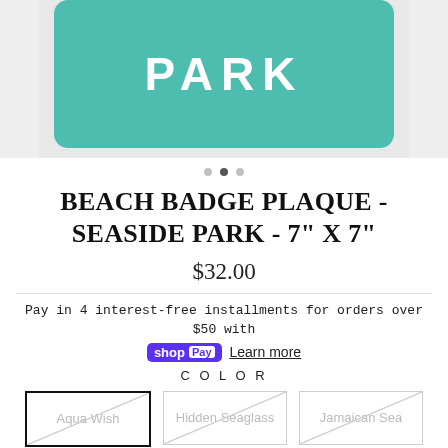[Figure (photo): Teal beach badge plaque sign reading PARK on a white background]
BEACH BADGE PLAQUE - SEASIDE PARK - 7" X 7"
$32.00
Pay in 4 interest-free installments for orders over $50 with shop Pay Learn more
COLOR
Aqua Wish
Hidden Seaglass
Jamaican Sea
Very Navy